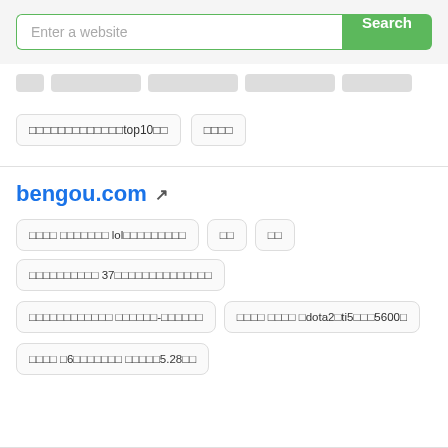[Figure (screenshot): Search bar with placeholder 'Enter a website' and green Search button]
□□□□□□□□□□□□□top10□□
□□□□
bengou.com
□□□□ □□□□□□□ lol□□□□□□□□□
□□
□□
□□□□□□□□□□ 37□□□□□□□□□□□□□□
□□□□□□□□□□□□ □□□□□□-□□□□□□
□□□□ □□□□ □dota2□ti5□□□5600□
□□□□ □6□□□□□□□ □□□□□5.28□□